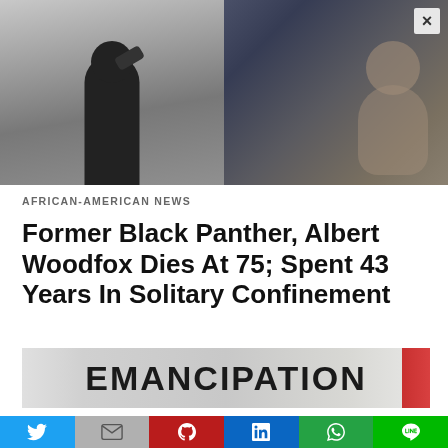[Figure (photo): Left: black-and-white archival photo of a person with hands behind back. Right: color photo of two men smiling together outdoors, one with grey hair.]
AFRICAN-AMERICAN NEWS
Former Black Panther, Albert Woodfox Dies At 75; Spent 43 Years In Solitary Confinement
[Figure (photo): Partial banner sign reading EMANCIPATION]
This website uses cookies.
Accept